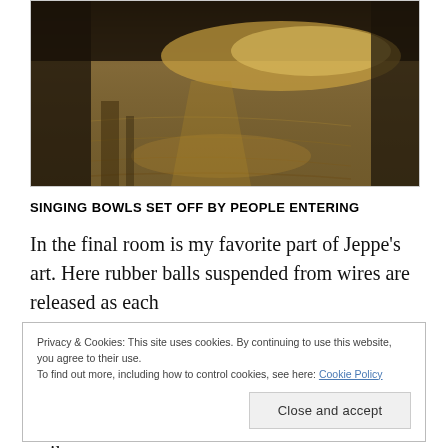[Figure (photo): Interior photograph of a dimly lit room with a wet or reflective golden-brown floor and large dark structural columns or walls visible in the background.]
SINGING BOWLS SET OFF BY PEOPLE ENTERING
In the final room is my favorite part of Jeppe's art. Here rubber balls suspended from wires are released as each
Privacy & Cookies: This site uses cookies. By continuing to use this website, you agree to their use.
To find out more, including how to control cookies, see here: Cookie Policy
[Close and accept]
echo and resonate around the room as the balls strike